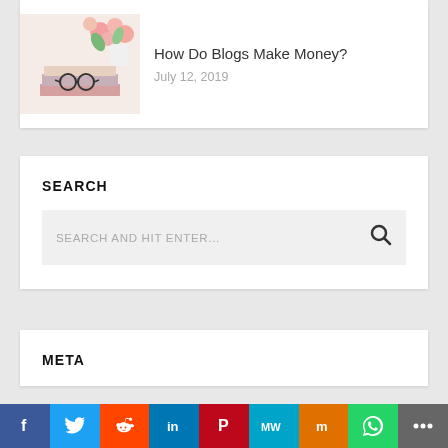[Figure (photo): Blog post thumbnail showing flowers, books, and glasses on a desk]
How Do Blogs Make Money?
July 12, 2019
SEARCH
SEARCH AND HIT ENTER...
META
Social share bar: Facebook, Twitter, Reddit, LinkedIn, Pinterest, MeWe, Mix, WhatsApp, More